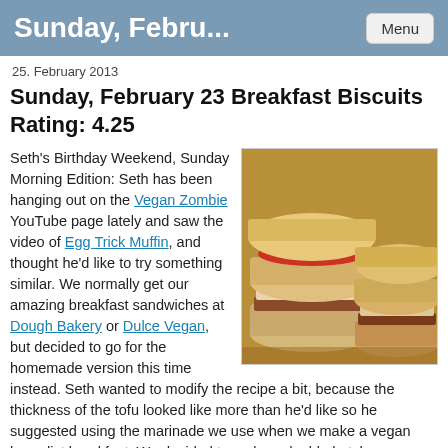Sunday, Febru...
25. February 2013
Sunday, February 23 Breakfast Biscuits Rating: 4.25
[Figure (photo): Two homemade vegan breakfast biscuit sandwiches with tomato filling on a wooden surface]
Seth's Birthday Weekend, Sunday Morning Edition: Seth has been hanging out on the Vegan Zombie YouTube page lately and saw the video of Egg Trick Muffin, and thought he'd like to try something similar. We normally get our amazing breakfast sandwiches at Dough Bakery or Dulce Vegan, but decided to go for the homemade version this time instead. Seth wanted to modify the recipe a bit, because the thickness of the tofu looked like more than he'd like so he suggested using the marinade we use when we make a vegan benedict breakfast. We decided to make a double batch – we wanted to have leftovers to keep in the freezer for quick, yummy breakfasts. Now, I may have misunderstood Seth when he asked me to make this. He meant for me to follow the Vegan